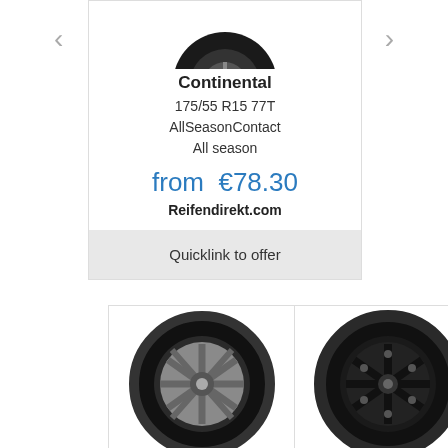[Figure (photo): Top view of a Continental AllSeasonContact tire on a rim, partially cropped at top]
Continental
175/55 R15 77T
AllSeasonContact
All season
from €78.30
Reifendirekt.com
Quicklink to offer
[Figure (photo): Continental AllSeasonContact tire on a silver multi-spoke alloy rim, front 3/4 view]
[Figure (photo): Black tire on a black multi-spoke wheel, front view]
[Figure (photo): Close-up partial side view of a tire tread pattern, cropped at right edge]